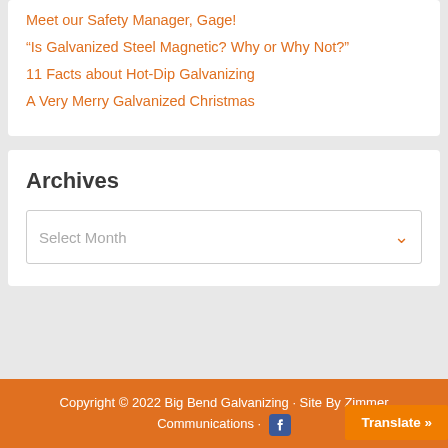Meet our Safety Manager, Gage!
“Is Galvanized Steel Magnetic? Why or Why Not?”
11 Facts about Hot-Dip Galvanizing
A Very Merry Galvanized Christmas
Archives
Select Month
Copyright © 2022 Big Bend Galvanizing · Site By Zimmer Communications ·